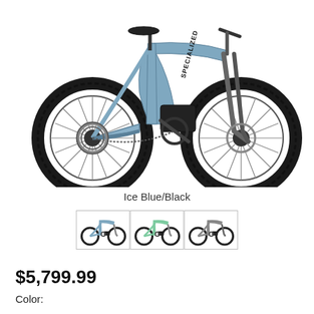[Figure (photo): Specialized electric mountain bike in Ice Blue/Black color, full suspension, side profile view showing both wheels, 12-speed drivetrain, disc brakes, and Specialized branding on the frame.]
Ice Blue/Black
[Figure (photo): Three small thumbnail images of the bike in different color variants, displayed in bordered boxes side by side.]
$5,799.99
Color: